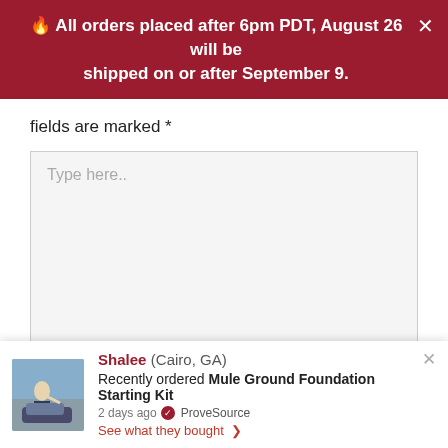🔥 All orders placed after 6pm PDT, August 26 will be shipped on or after September 9.
fields are marked *
Type here..
[Figure (screenshot): Social proof notification popup showing Shalee from Cairo, GA recently ordered Mule Ground Foundation Starting Kit, 2 days ago, with ProveSource badge and 'See what they bought' link]